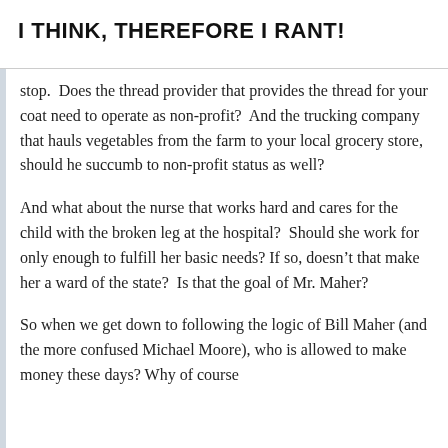I THINK, THEREFORE I RANT!
stop.  Does the thread provider that provides the thread for your coat need to operate as non-profit?  And the trucking company that hauls vegetables from the farm to your local grocery store, should he succumb to non-profit status as well?
And what about the nurse that works hard and cares for the child with the broken leg at the hospital?  Should she work for only enough to fulfill her basic needs? If so, doesn’t that make her a ward of the state?  Is that the goal of Mr. Maher?
So when we get down to following the logic of Bill Maher (and the more confused Michael Moore), who is allowed to make money these days? Why of course